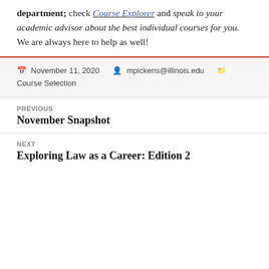department; check Course Explorer and speak to your academic advisor about the best individual courses for you.  We are always here to help as well!
Posted on November 11, 2020  Author mpickens@illinois.edu  Categories Course Selection
Previous post: November Snapshot
Next post: Exploring Law as a Career: Edition 2